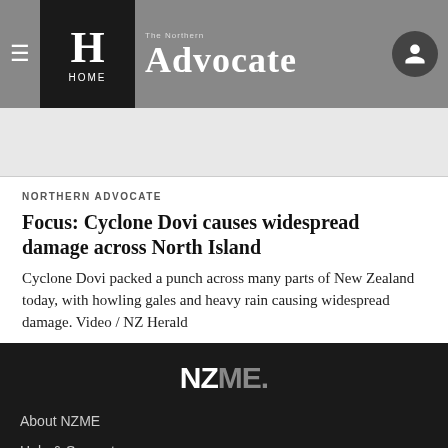The Northern Advocate — HOME
NORTHERN ADVOCATE
Focus: Cyclone Dovi causes widespread damage across North Island
Cyclone Dovi packed a punch across many parts of New Zealand today, with howling gales and heavy rain causing widespread damage. Video / NZ Herald
NZME. About NZME Help & Support Contact Us Subscribe to The Northern Advocate House Rules